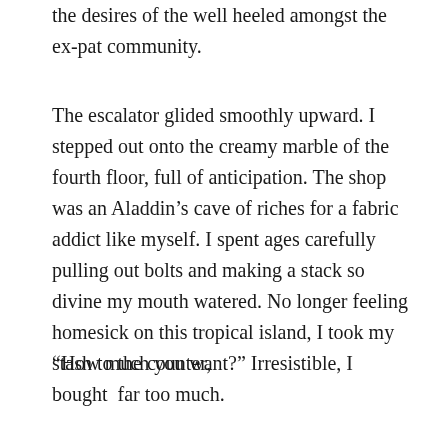the desires of the well heeled amongst the ex-pat community.
The escalator glided smoothly upward. I stepped out onto the creamy marble of the fourth floor, full of anticipation. The shop was an Aladdin’s cave of riches for a fabric addict like myself. I spent ages carefully pulling out bolts and making a stack so divine my mouth watered. No longer feeling homesick on this tropical island, I took my stash to the counter,
“How much you want?” Irresistible, I bought  far too much.